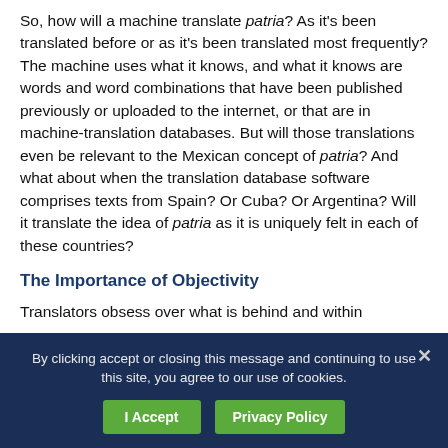So, how will a machine translate patria? As it's been translated before or as it's been translated most frequently? The machine uses what it knows, and what it knows are words and word combinations that have been published previously or uploaded to the internet, or that are in machine-translation databases. But will those translations even be relevant to the Mexican concept of patria? And what about when the translation database software comprises texts from Spain? Or Cuba? Or Argentina? Will it translate the idea of patria as it is uniquely felt in each of these countries?
The Importance of Objectivity
Translators obsess over what is behind and within
By clicking accept or closing this message and continuing to use this site, you agree to our use of cookies.